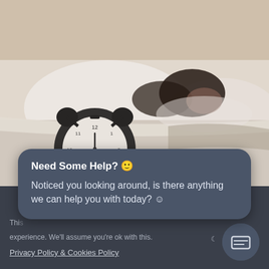[Figure (photo): Photo of a woman sleeping in bed with a black alarm clock in the foreground, blurred background of white pillows and bedsheets]
Need Some Help? 🙂
Noticed you looking around, is there anything we can help you with today? 😊
This
experience. We'll assume you're ok with this.
Privacy Policy & Cookies Policy